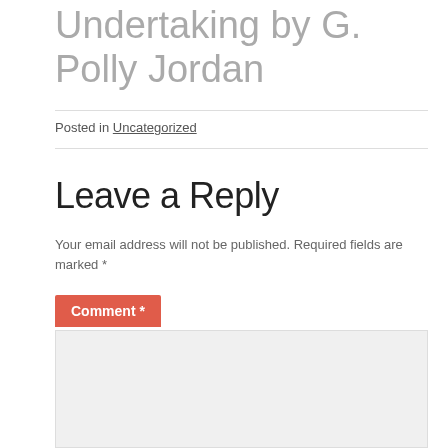Undertaking by G. Polly Jordan
Posted in Uncategorized
Leave a Reply
Your email address will not be published. Required fields are marked *
Comment *